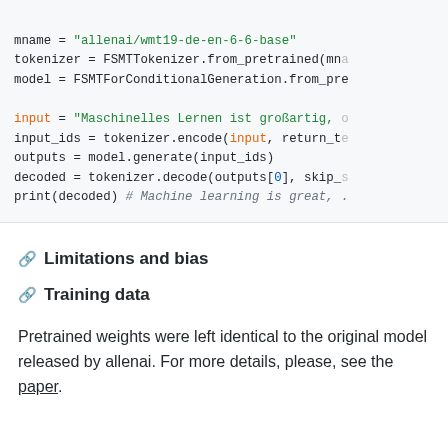[Figure (screenshot): Code block showing Python code for machine translation using FSMTTokenizer and FSMTForConditionalGeneration from allenai/wmt19-de-en-6-6-base model]
Limitations and bias
Training data
Pretrained weights were left identical to the original model released by allenai. For more details, please, see the paper.